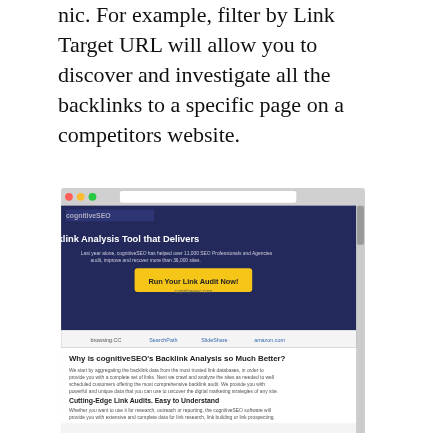nic. For example, filter by Link Target URL will allow you to discover and investigate all the backlinks to a specific page on a competitors website.
[Figure (screenshot): Screenshot of cognitiveSEO website showing Backlink Analysis Tool that Delivers page, with a yellow call-to-action button 'Run Your Link Audit Now!' on a dark blue background, and below it text about why cognitiveSEO's backlink analysis is better, including sections on Cutting-Edge Link Audits.]
Backlink Analysis Tool that Delivers - cognitiveSEO. The Unnatural Link Detection tool enables you to visualize the naturalness of your entire link profile, displaying the ratio of unnatural links, ok and suspect ones. The time-consuming task of reviewing backlinks is now